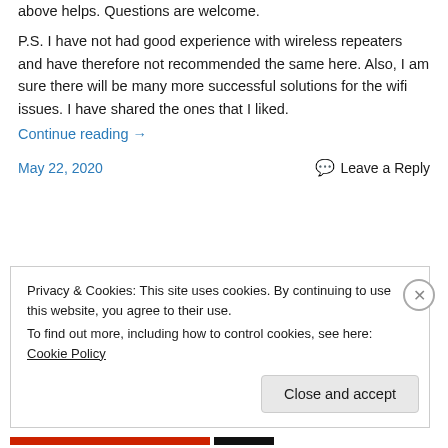above helps. Questions are welcome.
P.S. I have not had good experience with wireless repeaters and have therefore not recommended the same here. Also, I am sure there will be many more successful solutions for the wifi issues. I have shared the ones that I liked.
Continue reading →
May 22, 2020
Leave a Reply
Privacy & Cookies: This site uses cookies. By continuing to use this website, you agree to their use.
To find out more, including how to control cookies, see here: Cookie Policy
Close and accept